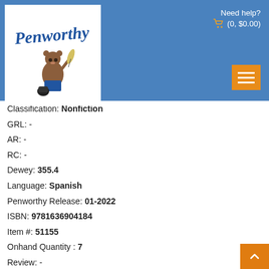[Figure (logo): Penworthy logo: cursive blue Penworthy text with bear mascot holding a quill pen, standing next to an ink pot]
Need help?
(0, $0.00)
Classification: Nonfiction
GRL: -
AR: -
RC: -
Dewey: 355.4
Language: Spanish
Penworthy Release: 01-2022
ISBN: 9781636904184
Item #: 51155
Onhand Quantity : 7
Review: -